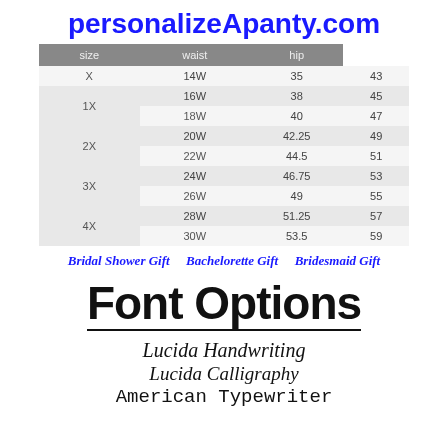personalizeApanty.com
| size | waist | hip |
| --- | --- | --- |
| X | 14W | 35 | 43 |
| 1X | 16W | 38 | 45 |
| 1X | 18W | 40 | 47 |
| 2X | 20W | 42.25 | 49 |
| 2X | 22W | 44.5 | 51 |
| 3X | 24W | 46.75 | 53 |
| 3X | 26W | 49 | 55 |
| 4X | 28W | 51.25 | 57 |
| 4X | 30W | 53.5 | 59 |
Bridal Shower Gift   Bachelorette Gift   Bridesmaid Gift
Font Options
Lucida Handwriting
Lucida Calligraphy
American Typewriter